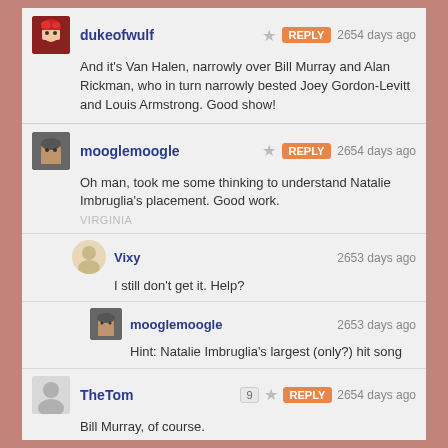dukeofwulf — REPLY — 2654 days ago — And it's Van Halen, narrowly over Bill Murray and Alan Rickman, who in turn narrowly bested Joey Gordon-Levitt and Louis Armstrong. Good show!
mooglemoogle — REPLY — 2654 days ago — Oh man, took me some thinking to understand Natalie Imbruglia's placement. Good work. VIRGINIA
Vixy — 2653 days ago — I still don't get it. Help?
mooglemoogle — 2653 days ago — Hint: Natalie Imbruglia's largest (only?) hit song
TheTom — 9 — REPLY — 2654 days ago — Bill Murray, of course. ADELAIDE
beslayed — REPLY — 2655 days ago — I initially took this to be something like "individuals who tend to collapse into one another in my mind".